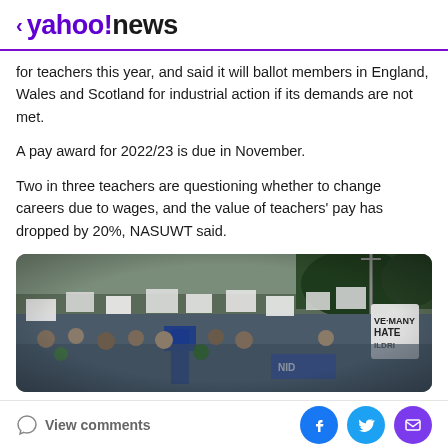< yahoo!news
for teachers this year, and said it will ballot members in England, Wales and Scotland for industrial action if its demands are not met.
A pay award for 2022/23 is due in November.
Two in three teachers are questioning whether to change careers due to wages, and the value of teachers' pay has dropped by 20%, NASUWT said.
[Figure (photo): Large crowd of protesters holding signs and banners at a teachers' demonstration.]
View comments